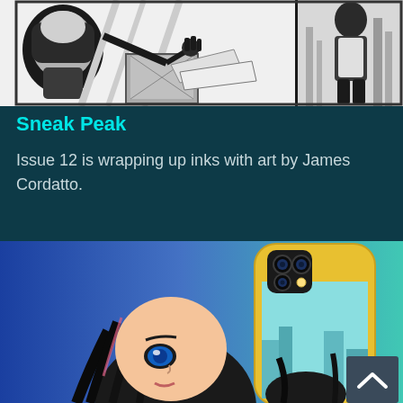[Figure (illustration): Two manga/comic-style black and white panels showing robotic or mechanical characters in action scenes]
Sneak Peak
Issue 12 is wrapping up inks with art by James Cordatto.
[Figure (photo): Photo of a smartphone with a custom anime-style phone case featuring a female character with blue eyes and dark hair, on a yellow and teal background. A back-to-top arrow button is visible in the bottom right corner.]